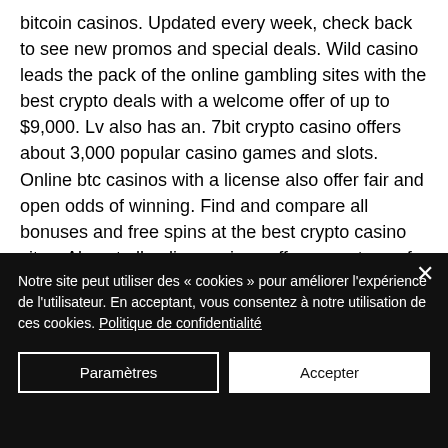bitcoin casinos. Updated every week, check back to see new promos and special deals. Wild casino leads the pack of the online gambling sites with the best crypto deals with a welcome offer of up to $9,000. Lv also has an. 7bit crypto casino offers about 3,000 popular casino games and slots. Online btc casinos with a license also offer fair and open odds of winning. Find and compare all bonuses and free spins at the best crypto casino sites. Almost all online casinos offer some type of casino bonus. Check out the best bitcoin online casinos for 2022 here and join our top site today. Get up to €1000
Notre site peut utiliser des « cookies » pour améliorer l'expérience de l'utilisateur. En acceptant, vous consentez à notre utilisation de ces cookies. Politique de confidentialité
Paramètres
Accepter